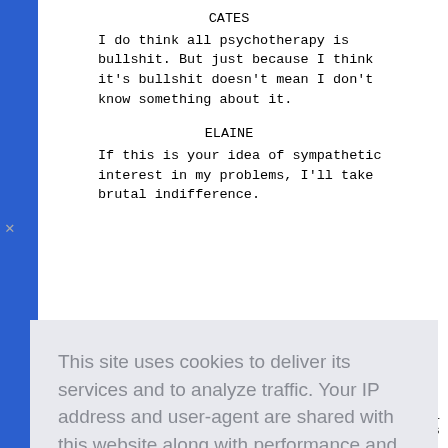CATES
I do think all psychotherapy is bullshit. But just because I think it's bullshit doesn't mean I don't know something about it.
ELAINE
If this is your idea of sympathetic interest in my problems, I'll take brutal indifference.
This site uses cookies to deliver its services and to analyze traffic. Your IP address and user-agent are shared with this website along with performance and security metrics to ensure quality of service, generate usage statistics, and to detect and address abuse.
Learn more
Got it!
ney'll
moves
back: